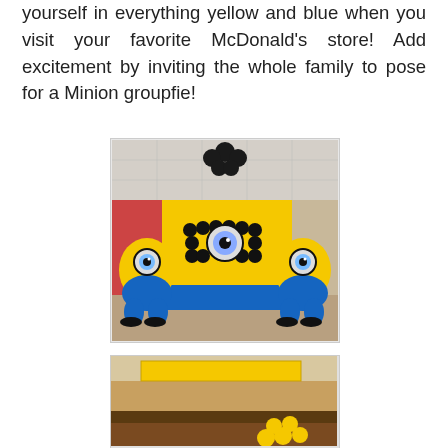yourself in everything yellow and blue when you visit your favorite McDonald's store! Add excitement by inviting the whole family to pose for a Minion groupfie!
[Figure (photo): Photo of a McDonald's interior decorated with Minion-themed balloon sculptures. Two large yellow and blue Minion balloon figures flank a balloon wall backdrop featuring a Minion face made from yellow and black balloons. Black balloon cluster hangs from ceiling above.]
[Figure (photo): Photo of McDonald's interior with Minion-themed yellow decorations, partially visible at bottom of page.]